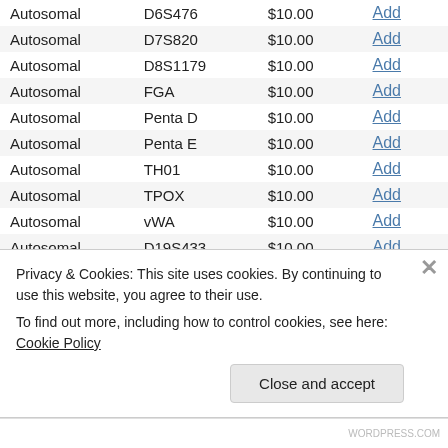| Type | Marker | Price | Action |
| --- | --- | --- | --- |
| Autosomal | D7S820 | $10.00 | Add |
| Autosomal | D8S1179 | $10.00 | Add |
| Autosomal | FGA | $10.00 | Add |
| Autosomal | Penta D | $10.00 | Add |
| Autosomal | Penta E | $10.00 | Add |
| Autosomal | TH01 | $10.00 | Add |
| Autosomal | TPOX | $10.00 | Add |
| Autosomal | vWA | $10.00 | Add |
| Autosomal | D19S433 | $10.00 | Add |
| Autosomal | D2S1338 | $10.00 | Add |
| Autosomal | F13A01 | $10.00 | Add |
| Autosomal | F13B | $10.00 | Add |
| Autosomal | FESFPS | $10.00 | Add |
| Autosomal | LPL | $10.00 | Add |
| Autosomal | Penta B | $10.00 | Add |
| Autosomal | Penta C | $10.00 | Add |
| Autosomal | SE33 | $10.00 | Add |
Privacy & Cookies: This site uses cookies. By continuing to use this website, you agree to their use.
To find out more, including how to control cookies, see here: Cookie Policy